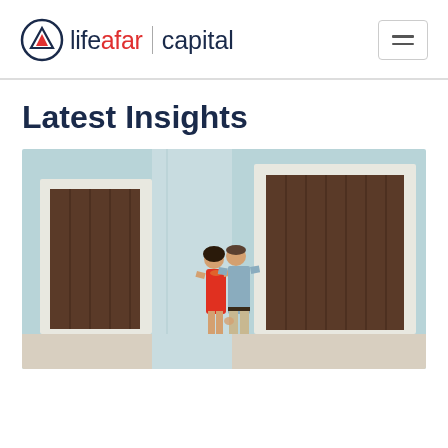lifeafar capital
Latest Insights
[Figure (photo): A couple standing together in front of a light blue building with dark wooden shuttered windows. The woman is wearing a red dress and the man is wearing a light blue shirt and beige pants.]